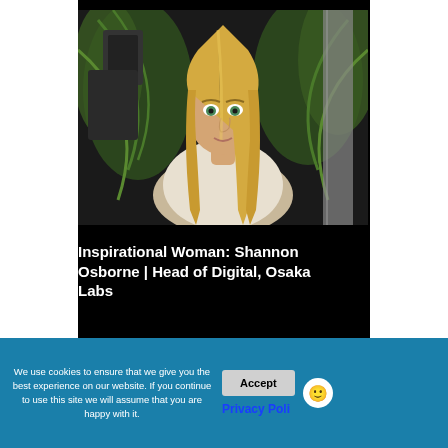[Figure (photo): Young blonde woman with long straight hair wearing a white t-shirt, sitting in front of tropical green plants and a concrete column, indoor/dark venue setting]
Inspirational Woman: Shannon Osborne | Head of Digital, Osaka Labs
We use cookies to ensure that we give you the best experience on our website. If you continue to use this site we will assume that you are happy with it.